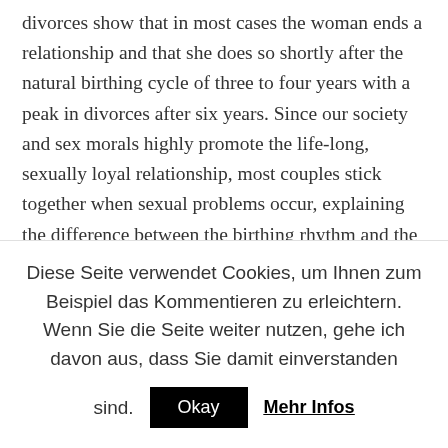divorces show that in most cases the woman ends a relationship and that she does so shortly after the natural birthing cycle of three to four years with a peak in divorces after six years. Since our society and sex morals highly promote the life-long, sexually loyal relationship, most couples stick together when sexual problems occur, explaining the difference between the birthing rhythm and the actual divorce. Numerous studies on long-term relationships show that it's almost always the woman who loses sexual interest in her partner while the man continues to desire his female
Diese Seite verwendet Cookies, um Ihnen zum Beispiel das Kommentieren zu erleichtern. Wenn Sie die Seite weiter nutzen, gehe ich davon aus, dass Sie damit einverstanden sind. Okay Mehr Infos